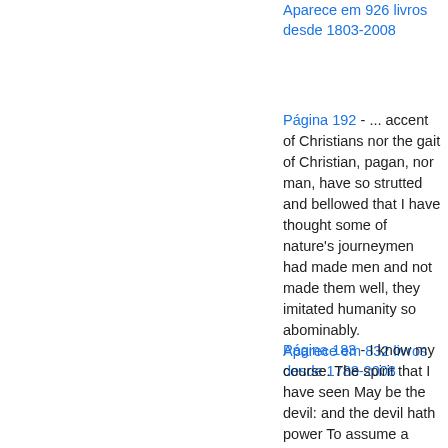Aparece em 926 livros desde 1803-2008
Página 192 - ... accent of Christians nor the gait of Christian, pagan, nor man, have so strutted and bellowed that I have thought some of nature's journeymen had made men and not made them well, they imitated humanity so abominably.
Aparece em 832 livros desde 1788-2008
Página 183 - I know my course. The spirit that I have seen May be the devil: and the devil hath power To assume a pleasing shape; yea, and perhaps Out of my